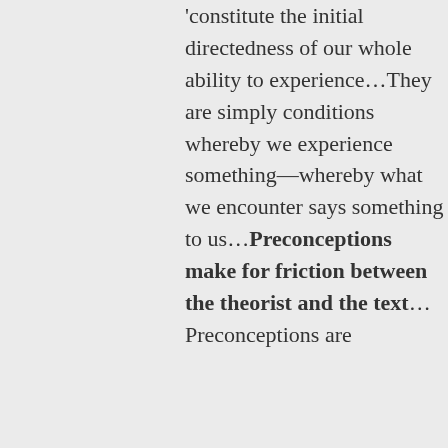'constitute the initial directedness of our whole ability to experience…They are simply conditions whereby we experience something—whereby what we encounter says something to us…Preconceptions make for friction between the theorist and the text…Preconceptions are